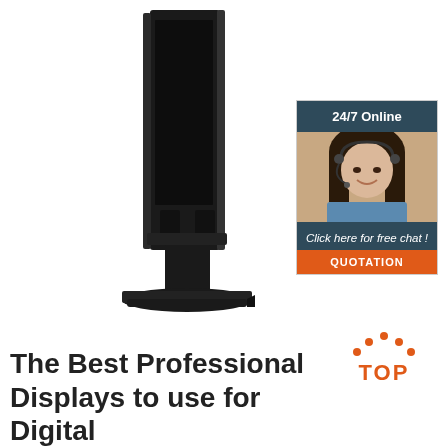[Figure (photo): A tall vertical digital display stand / totem kiosk in black, shown from a side-front angle on white background]
[Figure (infographic): 24/7 Online chat widget with woman wearing headset headphones, blue uniform, smiling. Header: '24/7 Online', body text: 'Click here for free chat !', orange button: 'QUOTATION']
[Figure (logo): TOP logo with orange dots arranged in an arch above the letters TOP in orange]
The Best Professional Displays to use for Digital